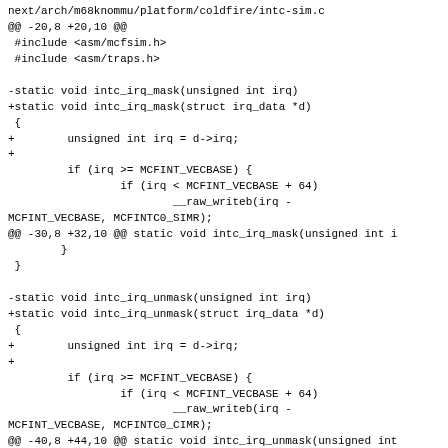next/arch/m68knommu/platform/coldfire/intc-sim.c
@@ -20,8 +20,10 @@
 #include <asm/mcfsim.h>
 #include <asm/traps.h>

-static void intc_irq_mask(unsigned int irq)
+static void intc_irq_mask(struct irq_data *d)
 {
+        unsigned int irq = d->irq;
+
         if (irq >= MCFINT_VECBASE) {
                 if (irq < MCFINT_VECBASE + 64)
                         __raw_writeb(irq -
MCFINT_VECBASE, MCFINTC0_SIMR);
@@ -30,8 +32,10 @@ static void intc_irq_mask(unsigned int i
        }
 }

-static void intc_irq_unmask(unsigned int irq)
+static void intc_irq_unmask(struct irq_data *d)
 {
+        unsigned int irq = d->irq;
+
         if (irq >= MCFINT_VECBASE) {
                 if (irq < MCFINT_VECBASE + 64)
                         __raw_writeb(irq -
MCFINT_VECBASE, MCFINTC0_CIMR);
@@ -40,8 +44,10 @@ static void intc_irq_unmask(unsigned int
        }